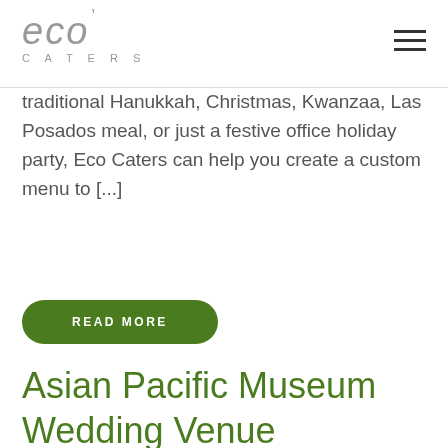eco CATERS
traditional Hanukkah, Christmas, Kwanzaa, Las Posados meal, or just a festive office holiday party, Eco Caters can help you create a custom menu to [...]
READ MORE
Asian Pacific Museum Wedding Venue